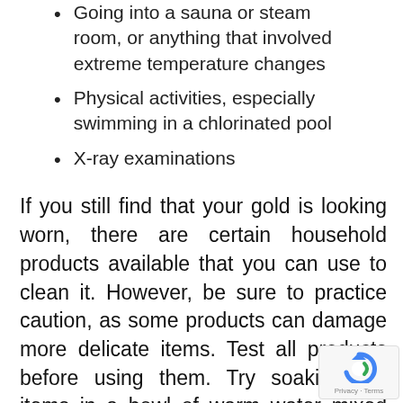Going into a sauna or steam room, or anything that involved extreme temperature changes
Physical activities, especially swimming in a chlorinated pool
X-ray examinations
If you still find that your gold is looking worn, there are certain household products available that you can use to clean it. However, be sure to practice caution, as some products can damage more delicate items. Test all products before using them. Try soaking the items in a bowl of warm water mixed with dish soap for a few minutes, then gently scrub with a soft toothbrush.